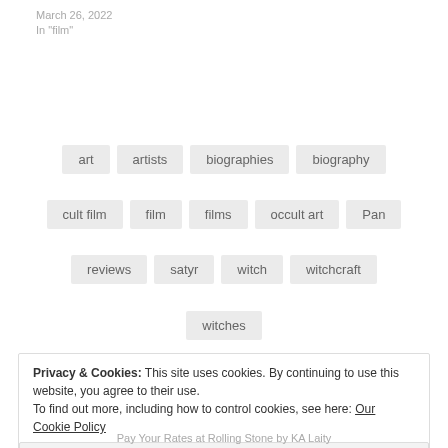March 26, 2022
In "film"
art
artists
biographies
biography
cult film
film
films
occult art
Pan
reviews
satyr
witch
witchcraft
witches
Privacy & Cookies: This site uses cookies. By continuing to use this website, you agree to their use.
To find out more, including how to control cookies, see here: Our Cookie Policy
Close and accept
Pay Your Rates at Rolling Stone by KA Laity